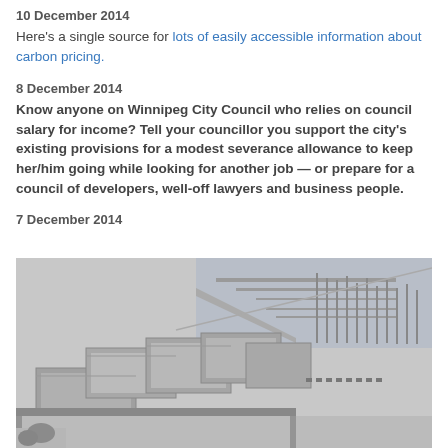10 December 2014
Here's a single source for lots of easily accessible information about carbon pricing.
8 December 2014
Know anyone on Winnipeg City Council who relies on council salary for income? Tell your councillor you support the city's existing provisions for a modest severance allowance to keep her/him going while looking for another job — or prepare for a council of developers, well-off lawyers and business people.
7 December 2014
[Figure (photo): Black and white aerial photograph of a large institutional complex of buildings next to a harbor/marina with many boats docked, waterfront visible in the background.]